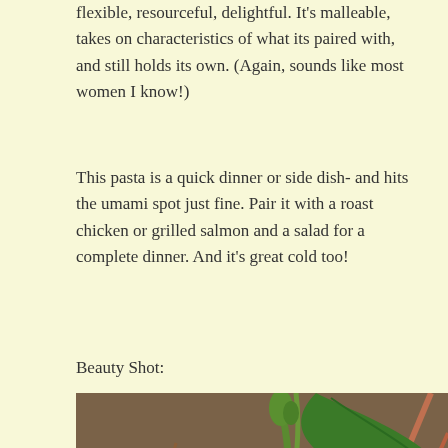flexible, resourceful, delightful. It's malleable, takes on characteristics of what its paired with, and still holds its own. (Again, sounds like most women I know!)
This pasta is a quick dinner or side dish- and hits the umami spot just fine. Pair it with a roast chicken or grilled salmon and a salad for a complete dinner. And it's great cold too!
Beauty Shot:
[Figure (photo): Close-up photograph of small pale pink wildflowers with white petals and yellow centers, growing among dry leaves and twigs on the ground, with a large green leaf visible in the upper right.]